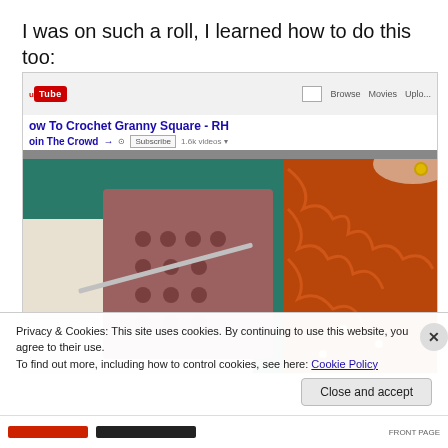I was on such a roll, I learned how to do this too:
[Figure (screenshot): Screenshot of a YouTube page showing 'How To Crochet Granny Square - RH' video, with a real-world photo overlay showing orange crocheted granny square in progress being worked with a crochet hook, and a pink/brown finished granny square visible on screen.]
Privacy & Cookies: This site uses cookies. By continuing to use this website, you agree to their use.
To find out more, including how to control cookies, see here: Cookie Policy
Close and accept